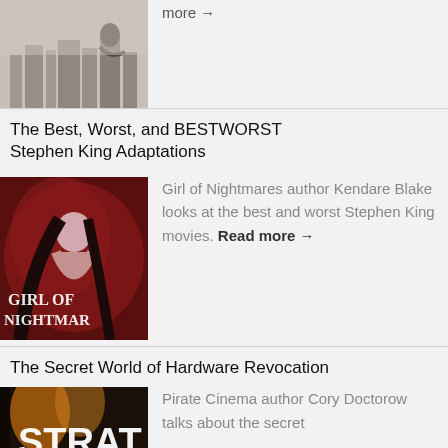[Figure (photo): Black and white photo of a person sitting on a ledge overlooking a city skyline]
more →
The Best, Worst, and BESTWORST Stephen King Adaptations
[Figure (photo): Book cover of Girl of Nightmares showing a girl with long dark hair surrounded by red swirling imagery]
Girl of Nightmares author Kendare Blake looks at the best and worst Stephen King movies. Read more →
The Secret World of Hardware Revocation
[Figure (photo): Partial book cover showing letters STRAT on a dark background with orange/gold lighting]
Pirate Cinema author Cory Doctorow talks about the secret